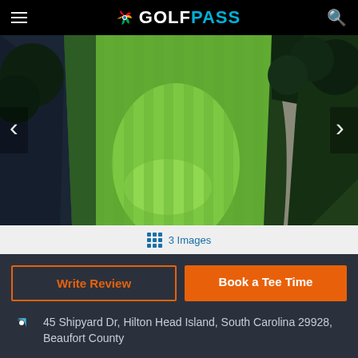GOLFPASS
[Figure (photo): Aerial view of a golf course fairway with a dark water hazard/creek on the left, lush green fairway in the center, and tree-lined path on the right]
3 Images
Write Review
Book a Tee Time
45 Shipyard Dr, Hilton Head Island, South Carolina 29928, Beaufort County
(843) 681-1510, (843) 681-1706
Course Website